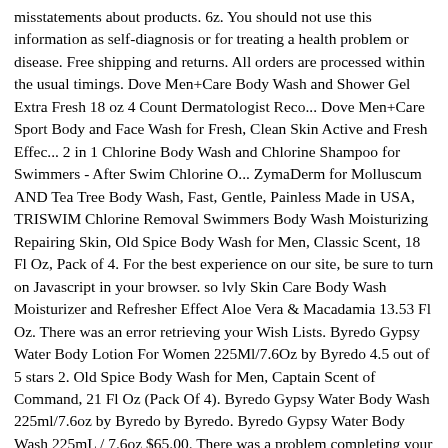misstatements about products. 6z. You should not use this information as self-diagnosis or for treating a health problem or disease. Free shipping and returns. All orders are processed within the usual timings. Dove Men+Care Body Wash and Shower Gel Extra Fresh 18 oz 4 Count Dermatologist Reco... Dove Men+Care Sport Body and Face Wash for Fresh, Clean Skin Active and Fresh Effec... 2 in 1 Chlorine Body Wash and Chlorine Shampoo for Swimmers - After Swim Chlorine O... ZymaDerm for Molluscum AND Tea Tree Body Wash, Fast, Gentle, Painless Made in USA, TRISWIM Chlorine Removal Swimmers Body Wash Moisturizing Repairing Skin, Old Spice Body Wash for Men, Classic Scent, 18 Fl Oz, Pack of 4. For the best experience on our site, be sure to turn on Javascript in your browser. so lvly Skin Care Body Wash Moisturizer and Refresher Effect Aloe Vera & Macadamia 13.53 Fl Oz. There was an error retrieving your Wish Lists. Byredo Gypsy Water Body Lotion For Women 225Ml/7.6Oz by Byredo 4.5 out of 5 stars 2. Old Spice Body Wash for Men, Captain Scent of Command, 21 Fl Oz (Pack Of 4). Byredo Gypsy Water Body Wash 225ml/7.6oz by Byredo by Byredo. Byredo Gypsy Water Body Wash 225mL / 7.6oz $65.00. There was a problem completing your request. Your question might be answered by sellers, manufacturers, or customers who bought this product. Please try your search again later. 2 offers from $65.00. For the best experience on our site, be sure to turn on Javascript in your browser. 5.0 out of 5 stars 8. Le Labo Santal 33 Shower Gel - 8 oz /237ml. OUAI Body Cleanser.